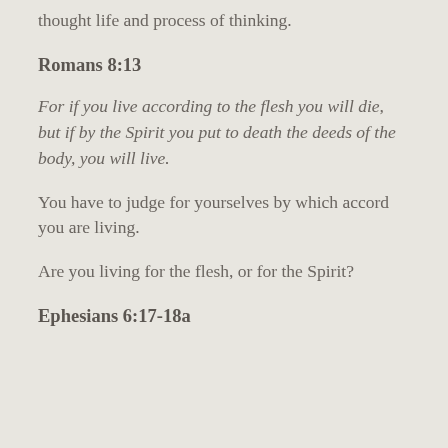thought life and process of thinking.
Romans 8:13
For if you live according to the flesh you will die, but if by the Spirit you put to death the deeds of the body, you will live.
You have to judge for yourselves by which accord you are living.
Are you living for the flesh, or for the Spirit?
Ephesians 6:17-18a